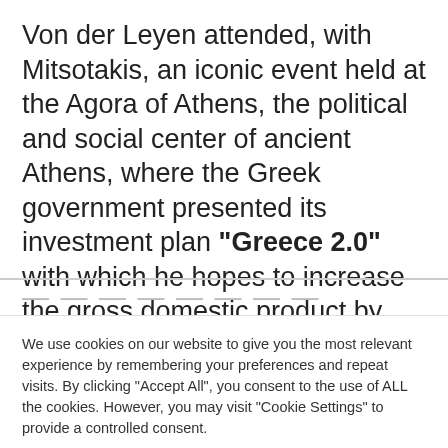Von der Leyen attended, with Mitsotakis, an iconic event held at the Agora of Athens, the political and social center of ancient Athens, where the Greek government presented its investment plan "Greece 2.0" with which he hopes to increase the gross domestic product by seven percentage points and create about dand 200,000 jobs until 2026.
We use cookies on our website to give you the most relevant experience by remembering your preferences and repeat visits. By clicking "Accept All", you consent to the use of ALL the cookies. However, you may visit "Cookie Settings" to provide a controlled consent.